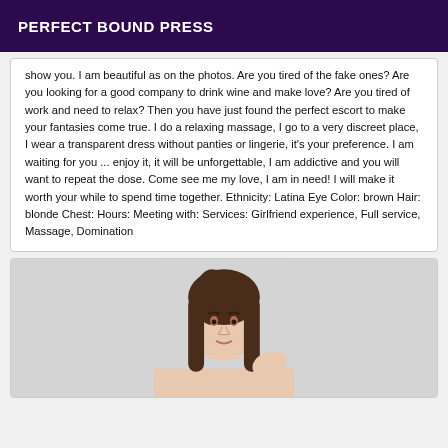PERFECT BOUND PRESS
show you. I am beautiful as on the photos. Are you tired of the fake ones? Are you looking for a good company to drink wine and make love? Are you tired of work and need to relax? Then you have just found the perfect escort to make your fantasies come true. I do a relaxing massage, I go to a very discreet place, I wear a transparent dress without panties or lingerie, it's your preference. I am waiting for you ... enjoy it, it will be unforgettable, I am addictive and you will want to repeat the dose. Come see me my love, I am in need! I will make it worth your while to spend time together. Ethnicity: Latina Eye Color: brown Hair: blonde Chest: Hours: Meeting with: Services: Girlfriend experience, Full service, Massage, Domination
[Figure (photo): Photo of a dark-haired woman, partially visible from shoulders up, on a light gray background]